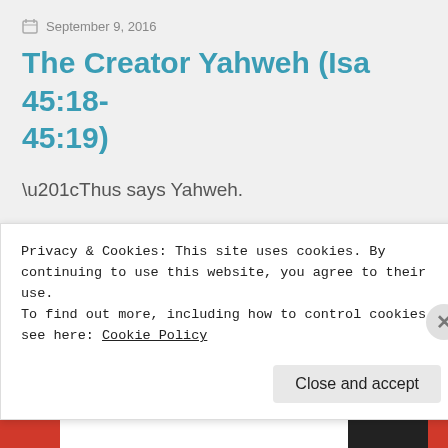September 9, 2016
The Creator Yahweh (Isa 45:18-45:19)
“Thus says Yahweh.
He created the heavens!
He is God!
He formed the earth!
Privacy & Cookies: This site uses cookies. By continuing to use this website, you agree to their use.
To find out more, including how to control cookies, see here: Cookie Policy